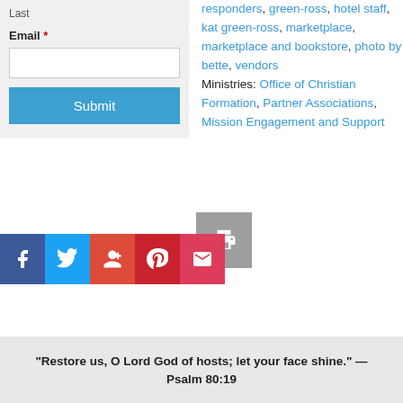Last
Email *
Submit
responders, green-ross, hotel staff, kat green-ross, marketplace, marketplace and bookstore, photo by bette, vendors
Ministries: Office of Christian Formation, Partner Associations, Mission Engagement and Support
[Figure (infographic): Social sharing buttons: Facebook, Twitter, Google+, Pinterest, Email, and a print button]
“Restore us, O Lord God of hosts; let your face shine.” — Psalm 80:19